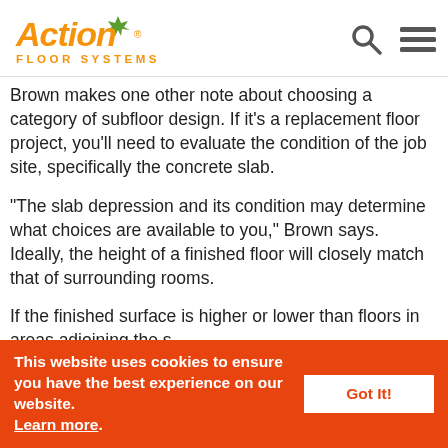Action Floor Systems logo, search icon, menu icon
Brown makes one other note about choosing a category of subfloor design. If it’s a replacement floor project, you’ll need to evaluate the condition of the job site, specifically the concrete slab.
“The slab depression and its condition may determine what choices are available to you,” Brown says. Ideally, the height of a finished floor will closely match that of surrounding rooms.
If the finished surface is higher or lower than floors in areas adjoining the space, you may have to install ramps or...
This website uses cookies to ensure you have the best experience on our website. Learn more. Got It!